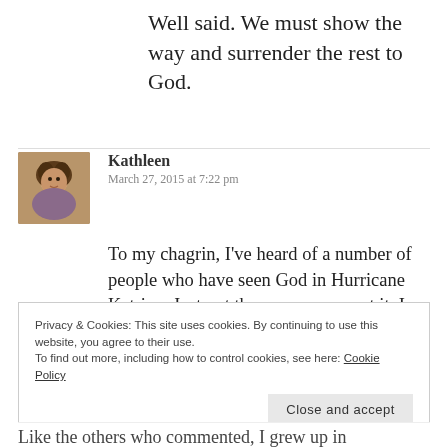Well said. We must show the way and surrender the rest to God.
Kathleen
March 27, 2015 at 7:22 pm
[Figure (photo): Avatar photo of Kathleen, a woman with curly hair]
To my chagrin, I've heard of a number of people who have seen God in Hurricane Katrina. Just not the way you meant it. I find God in nature, too, but not as a substitute for church.
Privacy & Cookies: This site uses cookies. By continuing to use this website, you agree to their use.
To find out more, including how to control cookies, see here: Cookie Policy
Close and accept
Like the others who commented, I grew up in